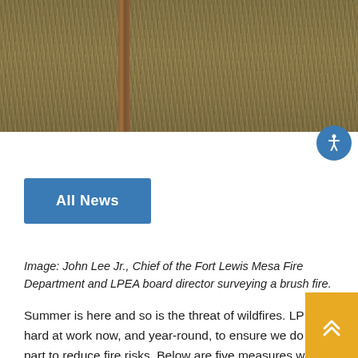[Figure (photo): Aerial/ground view of dry grass field with a wooden fence post visible, representing a brush fire risk area]
All News
Image: John Lee Jr., Chief of the Fort Lewis Mesa Fire Department and LPEA board director surveying a brush fire.
Summer is here and so is the threat of wildfires. LPEA is hard at work now, and year-round, to ensure we do our part to reduce fire risks. Below are five measures we're taking and three measures you can